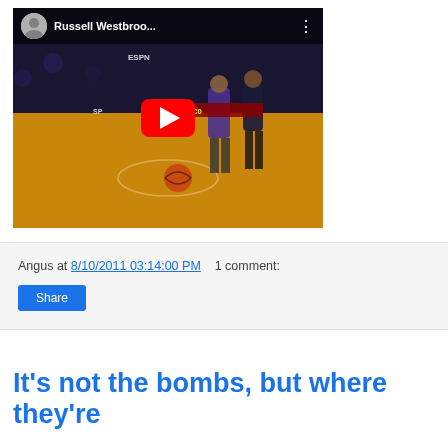[Figure (screenshot): YouTube video thumbnail showing a basketball game with Russell Westbrook. The video title bar shows 'Russell Westbroo...' with a YouTube play button overlay on the basketball court scene with ESPN branding.]
Angus at 8/10/2011 03:14:00 PM   1 comment:
Share
It's not the bombs, but where they're